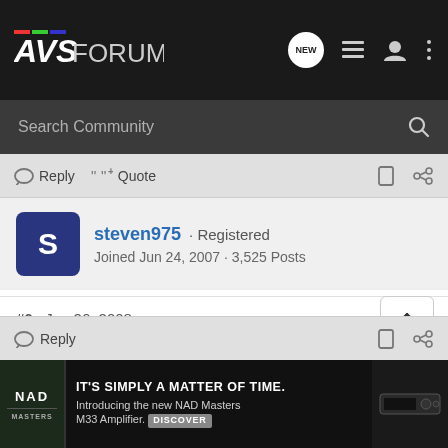AVSForum
Search Community
Reply  Quote
steven975 · Registered
Joined Jun 24, 2007 · 3,525 Posts
#6 · Jan 26, 2008
these sorts of things take many man-hours to do. You probably won't see anything until March.
Reply  IT'S SIMPLY A MATTER OF TIME. Introducing the new NAD Masters M33 Amplifier. DISCOVER